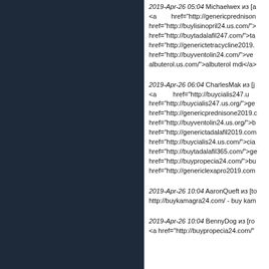2019-Apr-26 05:04 Michaelwex из [a ... <a href="http://genericprednison... href="http://buylisinopril24.us.com/">... href="http://buytadalafil247.com/">ta... href="http://generictetracycline2019.... href="http://buyventolin24.com/">ven... albuterol.us.com/">albuterol mdi</a>
2019-Apr-26 06:04 CharlesMak из [j... <a href="http://buycialis247.u... href="http://buycialis247.us.org/">ge... href="http://genericprednisone2019.c... href="http://buyventolin24.us.org/">b... href="http://generictadalafil2019.com... href="http://buycialis24.us.com/">cia... href="http://buytadalafil365.com/">ge... href="http://buypropecia24.com/">bu... href="http://genericlexapro2019.com...
2019-Apr-26 10:04 AaronQueft из [to... http://buykamagra24.com/ - buy kam...
2019-Apr-26 10:04 BennyDog из [ro... <a href="http://buypropecia24.com/"...